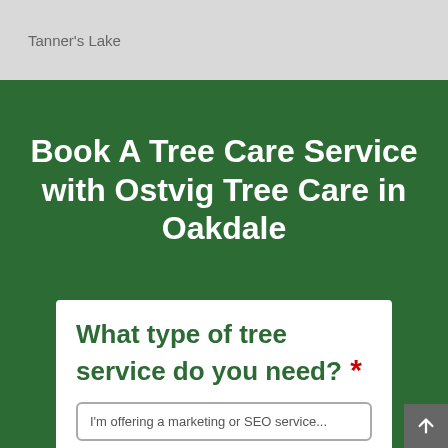Tanner's Lake
Book A Tree Care Service with Ostvig Tree Care in Oakdale
What type of tree service do you need? *
I'm offering a marketing or SEO service...